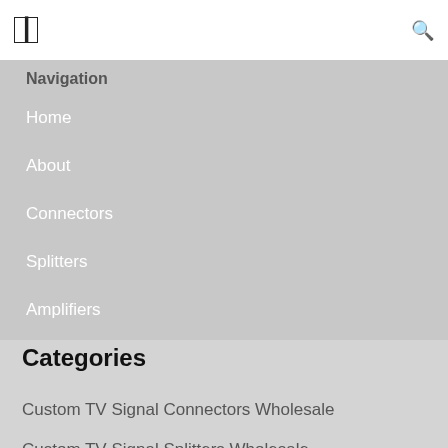☰  🔍
Navigation
Home
About
Connectors
Splitters
Amplifiers
Support
Contact
Categories
Custom TV Signal Connectors Wholesale
Custom TV Signal Splitters Wholesale